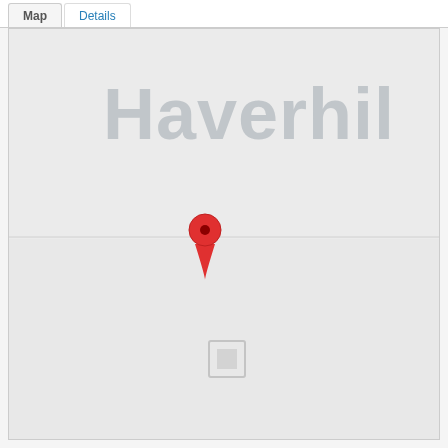Map | Details
[Figure (map): Google Maps view showing Haverhill area with a red location pin marker dropped in the center-lower area of the map. A small building/block icon appears below and to the right of the pin. The city name 'Haverhill' appears in large gray text in the upper portion of the map.]